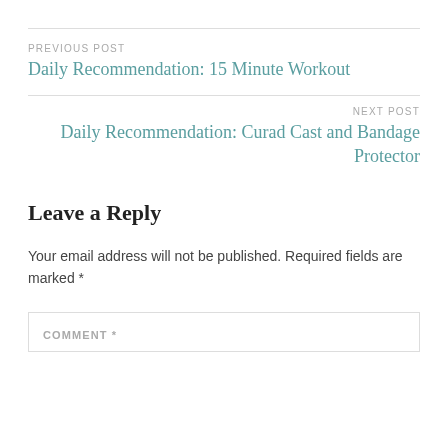PREVIOUS POST
Daily Recommendation: 15 Minute Workout
NEXT POST
Daily Recommendation: Curad Cast and Bandage Protector
Leave a Reply
Your email address will not be published. Required fields are marked *
COMMENT *